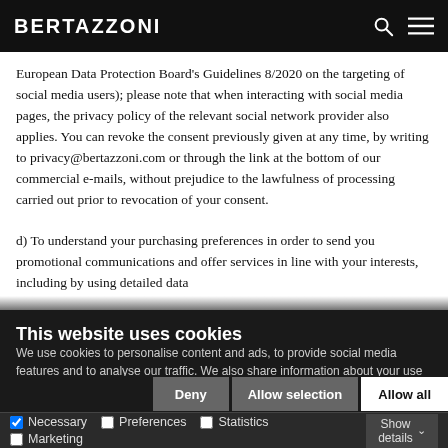BERTAZZONI
European Data Protection Board's Guidelines 8/2020 on the targeting of social media users); please note that when interacting with social media pages, the privacy policy of the relevant social network provider also applies. You can revoke the consent previously given at any time, by writing to privacy@bertazzoni.com or through the link at the bottom of our commercial e-mails, without prejudice to the lawfulness of processing carried out prior to revocation of your consent. d) To understand your purchasing preferences in order to send you promotional communications and offer services in line with your interests, including by using detailed data
This website uses cookies
We use cookies to personalise content and ads, to provide social media features and to analyse our traffic. We also share information about your use of our site with our social media, advertising and analytics partners who may combine it with other information that you've provided to them or that they've collected from your use of their services.
Deny  Allow selection  Allow all
Necessary  Preferences  Statistics  Marketing  Show details